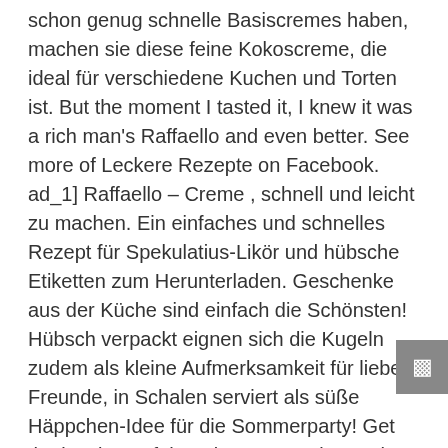schon genug schnelle Basiscremes haben, machen sie diese feine Kokoscreme, die ideal für verschiedene Kuchen und Torten ist. But the moment I tasted it, I knew it was a rich man's Raffaello and even better. See more of Leckere Rezepte on Facebook. ad_1] Raffaello – Creme , schnell und leicht zu machen. Ein einfaches und schnelles Rezept für Spekulatius-Likör und hübsche Etiketten zum Herunterladen. Geschenke aus der Küche sind einfach die Schönsten! Hübsch verpackt eignen sich die Kugeln zudem als kleine Aufmerksamkeit für liebe Freunde, in Schalen serviert als süße Häppchen-Idee für die Sommerparty! Get the bowl out of the microwave, stir together with a spoon & possibly microwave for another 30 – 45 seconds until you got a nicely thick cream. Im folgenden Beitrag verraten wir Ihnen, warum CBD so wertvoll für Ihre Haut ist – und wie Sie Hanfsalbe und CBD Creme einfach selbst herstellen können. Ich war total verzückt von der kurzen Zutatenliste, nur nachgebacken habe ich die guten Stücke nie.